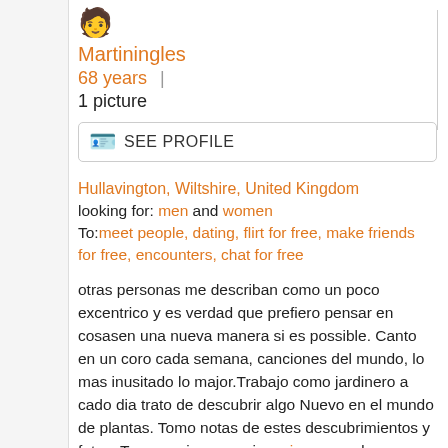[Figure (photo): User avatar icon (person emoji)]
Martiningles
68 years  |  1 picture
[Figure (other): SEE PROFILE button with ID card icon]
Hullavington, Wiltshire, United Kingdom
looking for: men and women
To:meet people, dating, flirt for free, make friends for free, encounters, chat for free
otras personas me describan como un poco excentrico y es verdad que prefiero pensar en cosasen una nueva manera si es possible. Canto en un coro cada semana, canciones del mundo, lo mas inusitado lo major.Trabajo como jardinero a cado dia trato de descubrir algo Nuevo en el mundo de plantas. Tomo notas de estes descubrimientos y fotos. Toco musica con mis amigos usando instrumentos primitivos como dijeridoo y harpa de boca. Me susta mucho la